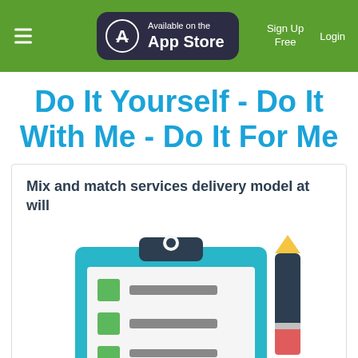Available on the App Store | Sign Up Free | Login
Do It Yourself - Do It With Me - Do It For Me
Mix and match services delivery model at will
[Figure (illustration): Clipboard with checklist items (green checkboxes with grey lines) and a pencil/pen on the right side, rendered as a flat vector illustration in teal, dark navy, green, and red colors.]